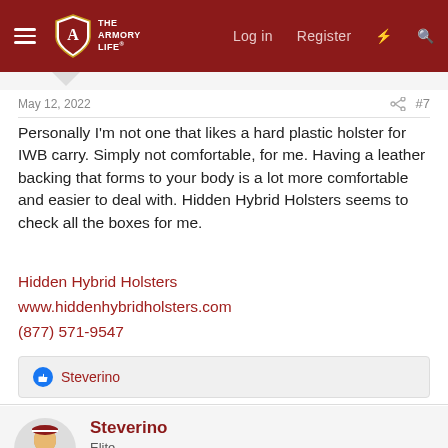The Armory Life — Log in  Register
May 12, 2022  #7
Personally I'm not one that likes a hard plastic holster for IWB carry. Simply not comfortable, for me. Having a leather backing that forms to your body is a lot more comfortable and easier to deal with. Hidden Hybrid Holsters seems to check all the boxes for me.
Hidden Hybrid Holsters
www.hiddenhybridholsters.com
(877) 571-9547
Steverino
Steverino
Elite